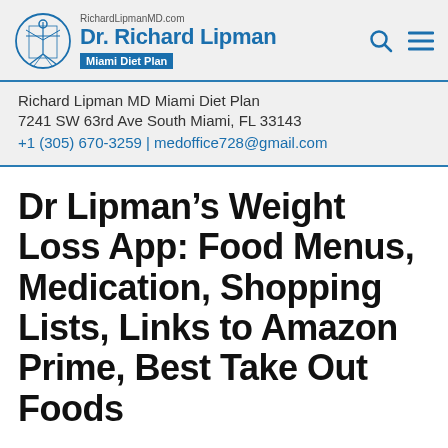RichardLipmanMD.com Dr. Richard Lipman Miami Diet Plan
Richard Lipman MD Miami Diet Plan
7241 SW 63rd Ave South Miami, FL 33143
+1 (305) 670-3259 | medoffice728@gmail.com
Dr Lipman’s Weight Loss App: Food Menus, Medication, Shopping Lists, Links to Amazon Prime, Best Take Out Foods